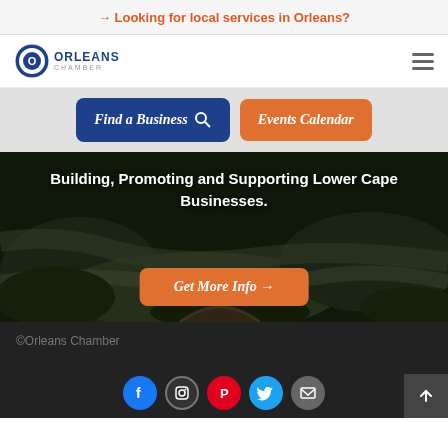→ Looking for local services in Orleans?
[Figure (logo): Orleans Chamber logo with circular icon and text]
Find a Business 🔍
Events Calendar
[Figure (photo): Aerial view of Cape Cod waterways and marshlands]
Building, Promoting and Supporting Lower Cape Businesses.
Get More Info →
©Orleans Chamber
[Figure (infographic): Social media icons: Facebook, Instagram, Pinterest, Twitter, Email]